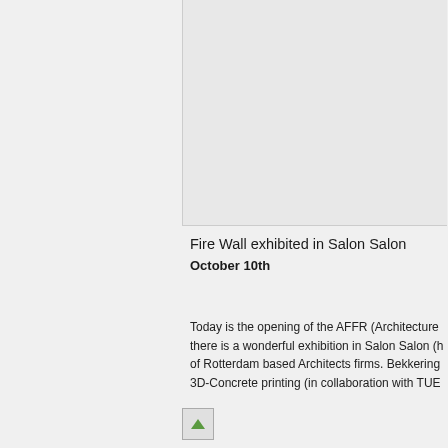[Figure (photo): Large image placeholder area at the top right of the page, light gray background with a border at the bottom]
Fire Wall exhibited in Salon Salon
October 10th
Today is the opening of the AFFR (Architecture there is a wonderful exhibition in Salon Salon (h of Rotterdam based Architects firms. Bekkeringe 3D-Concrete printing (in collaboration with TUE
[Figure (photo): Small image thumbnail with a green arrow icon indicating a broken or loading image]